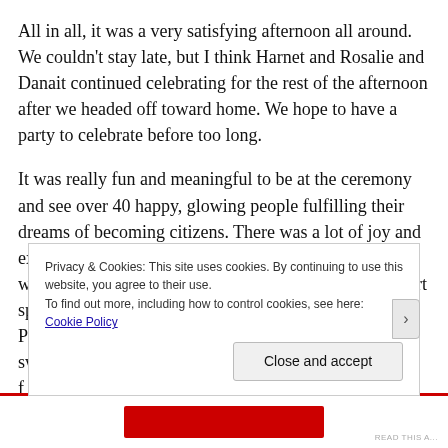All in all, it was a very satisfying afternoon all around.  We couldn't stay late, but I think Harnet and Rosalie and Danait continued celebrating for the rest of the afternoon after we headed off toward home.  We hope to have a party to celebrate before too long.
It was really fun and meaningful to be at the ceremony and see over 40 happy, glowing people fulfilling their dreams of becoming citizens.  There was a lot of joy and excitement in that room, let me tell you.  The ceremony was not very long–just a couple of patriotic videos, short speeches (like 1-2 minutes each),a message from the President welcoming the new citizens, and the actual swearing in of the group. It took f[...] r[...]
Privacy & Cookies: This site uses cookies. By continuing to use this website, you agree to their use.
To find out more, including how to control cookies, see here: Cookie Policy
Close and accept